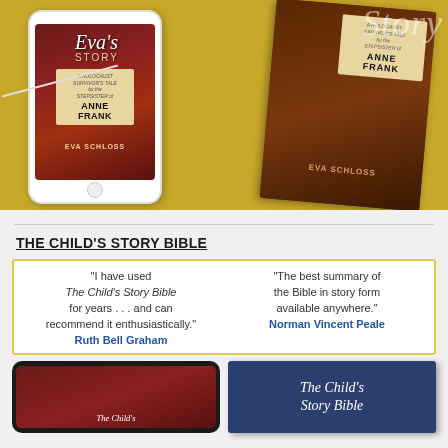[Figure (photo): Photo of smartphones displaying 'Eva's Story' book cover by Eva Schloss (Holocaust survivor, stepsister of Anne Frank), alongside the physical book cover, on a yellow background with earphones.]
THE CHILD'S STORY BIBLE
"I have used The Child's Story Bible for years . . . and can recommend it enthusiastically." Ruth Bell Graham
"The best summary of the Bible in story form available anywhere." Norman Vincent Peale
[Figure (photo): Smartphone displaying The Child's Story Bible app cover]
[Figure (photo): Physical book cover of The Child's Story Bible]